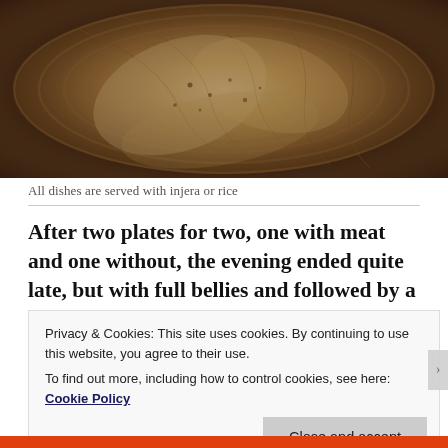[Figure (photo): Photo of injera flatbread folded and arranged in a woven basket, viewed from above. The flatbread is tan/brown with a slightly spongy texture.]
All dishes are served with injera or rice
After two plates for two, one with meat and one without, the evening ended quite late, but with full bellies and followed by a brisk walk to the bus stop.
Privacy & Cookies: This site uses cookies. By continuing to use this website, you agree to their use.
To find out more, including how to control cookies, see here: Cookie Policy